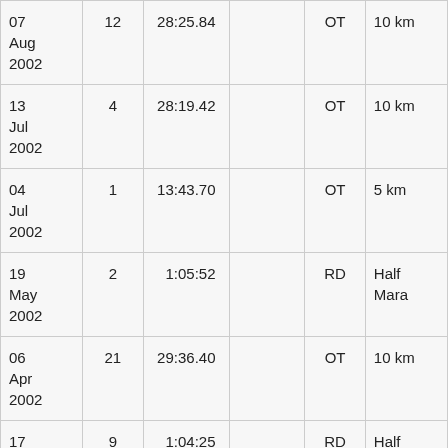| 07 Aug 2002 | 12 | 28:25.84 |  | OT | 10 km |
| 13 Jul 2002 | 4 | 28:19.42 |  | OT | 10 km |
| 04 Jul 2002 | 1 | 13:43.70 |  | OT | 5 km |
| 19 May 2002 | 2 | 1:05:52 |  | RD | Half Mara |
| 06 Apr 2002 | 21 | 29:36.40 |  | OT | 10 km |
| 17 Mar 2002 | 9 | 1:04:25 |  | RD | Half Mara |